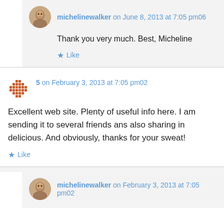michelinewalker on June 8, 2013 at 7:05 pm06
Thank you very much. Best, Micheline
Like
5 on February 3, 2013 at 7:05 pm02
Excellent web site. Plenty of useful info here. I am sending it to several friends ans also sharing in delicious. And obviously, thanks for your sweat!
Like
michelinewalker on February 3, 2013 at 7:05 pm02